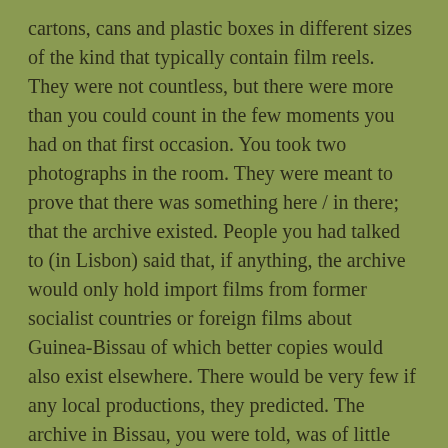cartons, cans and plastic boxes in different sizes of the kind that typically contain film reels. They were not countless, but there were more than you could count in the few moments you had on that first occasion. You took two photographs in the room. They were meant to prove that there was something here / in there; that the archive existed. People you had talked to (in Lisbon) said that, if anything, the archive would only hold import films from former socialist countries or foreign films about Guinea-Bissau of which better copies would also exist elsewhere. There would be very few if any local productions, they predicted. The archive in Bissau, you were told, was of little interest. But of little interest to whom? You found that interesting.
Because there were different stories. You met people (in Bissau) who knew all along that the archive existed and also/something about the origin of some content from...